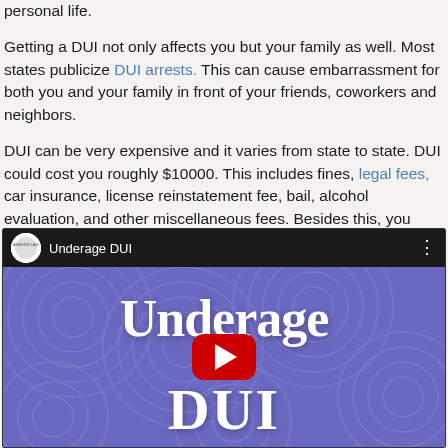personal life.
Getting a DUI not only affects you but your family as well. Most states publicize DUI arrests. This can cause embarrassment for both you and your family in front of your friends, coworkers and neighbors.
DUI can be very expensive and it varies from state to state. DUI could cost you roughly $10000. This includes fines, legal fees, car insurance, license reinstatement fee, bail, alcohol evaluation, and other miscellaneous fees. Besides this, you would also incur a loss of income due to loss of job. Hence one may suffer financially after getting a DUI.
[Figure (screenshot): Embedded YouTube video thumbnail showing 'Underage DUI' with a red play button over a purple decorative background. Channel name shown in the header bar.]